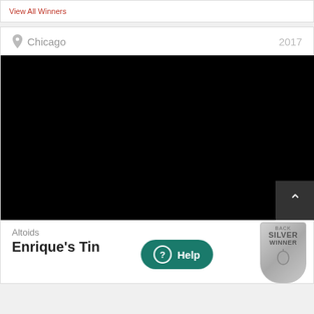View All Winners
Chicago  2017
[Figure (photo): Black rectangle representing a video or image placeholder]
Altoids
Enrique's Tin
[Figure (other): Help button overlay bubble with question mark icon and 'Help' text]
[Figure (other): Silver Winner badge/shield award icon]